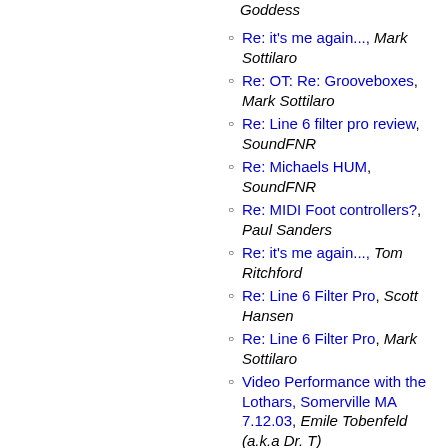Re: it's me again..., Mark Sottilaro
Re: OT: Re: Grooveboxes, Mark Sottilaro
Re: Line 6 filter pro review, SoundFNR
Re: Michaels HUM, SoundFNR
Re: MIDI Foot controllers?, Paul Sanders
Re: it's me again..., Tom Ritchford
Re: Line 6 Filter Pro, Scott Hansen
Re: Line 6 Filter Pro, Mark Sottilaro
Video Performance with the Lothars, Somerville MA 7.12.03, Emile Tobenfeld (a.k.a Dr. T)
sample & play/phrase trainers on multi-effects